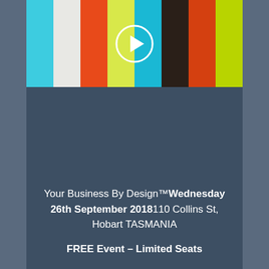[Figure (illustration): Colorful vertical stripe banner with a play button circle overlay. Stripes from left to right: cyan, white, orange-red, yellow-green, cyan, dark brown/black, orange-red, yellow-green.]
Your Business By Design™Wednesday 26th September 2018110 Collins St, Hobart TASMANIA
FREE Event – Limited Seats